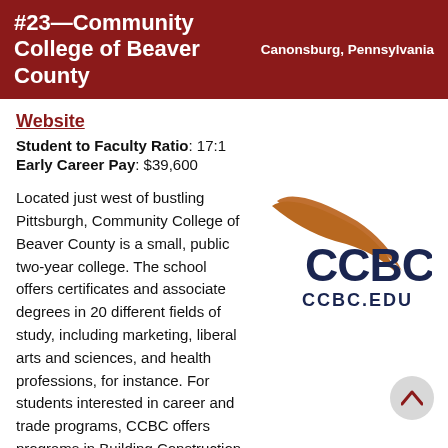#23—Community College of Beaver County | Canonsburg, Pennsylvania
Website
Student to Faculty Ratio: 17:1
Early Career Pay: $39,600
Located just west of bustling Pittsburgh, Community College of Beaver County is a small, public two-year college. The school offers certificates and associate degrees in 20 different fields of study, including marketing, liberal arts and sciences, and health professions, for instance. For students interested in career and trade programs, CCBC offers programs in Building Construction Technology, Welding, Wastewater Treatment, Applied Technologies, and more. The school accommodates its busiest students with convenient evening and hybrid classes.
[Figure (logo): CCBC logo with brown swoosh and dark navy CCBC text, with CCBC.EDU below in navy blue]